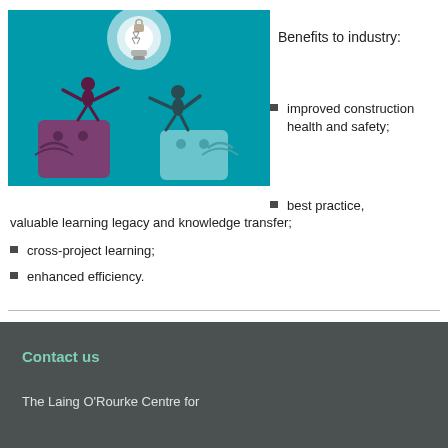[Figure (illustration): Two illustrated figures standing on stylized human head shapes with a glowing light bulb above, on a teal background, representing knowledge and ideas.]
Benefits to industry:
improved construction health and safety;
best practice, valuable learning legacy and knowledge transfer;
cross-project learning;
enhanced efficiency.
Contact us
The Laing O'Rourke Centre for